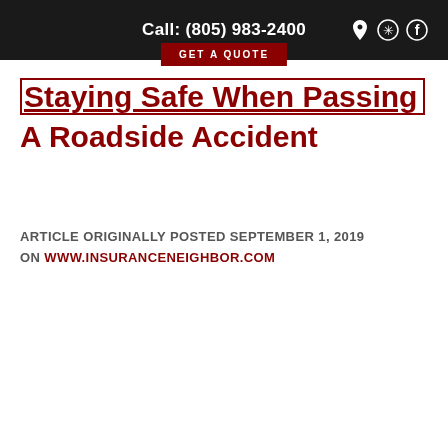Call: (805) 983-2400
Staying Safe When Passing A Roadside Accident
GET A QUOTE
ARTICLE ORIGINALLY POSTED SEPTEMBER 1, 2019 ON WWW.INSURANCENEIGHBOR.COM